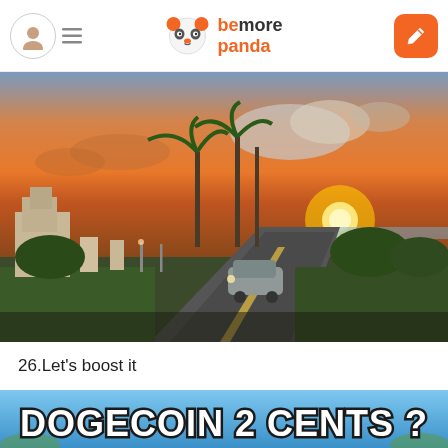bemore panda
[Figure (photo): Sunset photo of a road with palm trees, a building gate entrance, a car driving toward the camera, and a dramatic orange-red sunset sky with large clouds.]
26.Let's boost it
[Figure (photo): Meme image with sky background and bold white text with black outline reading: DOGECOIN 2 CENTS ?]